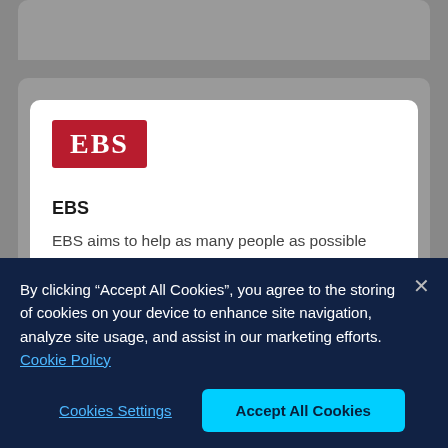[Figure (logo): EBS red logo with white text]
EBS
EBS aims to help as many people as possible own their own home. As well as offering mainstream mortgages, it also offers self build mortgages if you're building your own home. EBS has Mortgage Masters located in communities across Ireland that
By clicking "Accept All Cookies", you agree to the storing of cookies on your device to enhance site navigation, analyze site usage, and assist in our marketing efforts.  Cookie Policy
Cookies Settings
Accept All Cookies